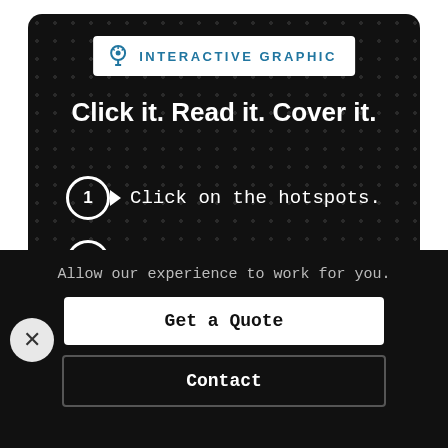INTERACTIVE GRAPHIC
Click it. Read it. Cover it.
1 Click on the hotspots.
2 Discover your risks.
3 Get the right coverage.
Allow our experience to work for you.
Get a Quote
Contact